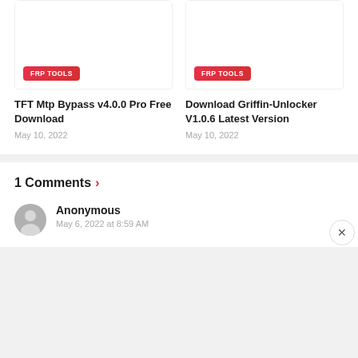[Figure (illustration): Card thumbnail placeholder with FRP TOOLS badge - TFT Mtp Bypass]
TFT Mtp Bypass v4.0.0 Pro Free Download
May 10, 2022
[Figure (illustration): Card thumbnail placeholder with FRP TOOLS badge - Download Griffin-Unlocker]
Download Griffin-Unlocker V1.0.6 Latest Version
May 10, 2022
1 Comments >
Anonymous
May 6, 2022 at 8:59 AM